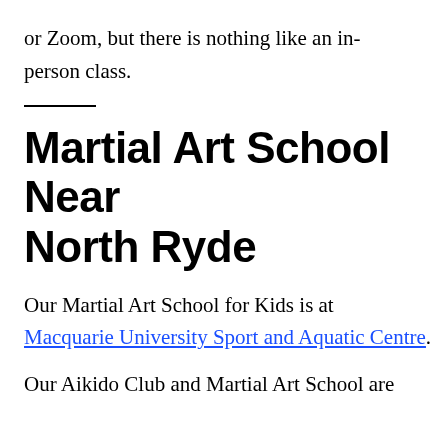or Zoom, but there is nothing like an in-person class.
Martial Art School Near North Ryde
Our Martial Art School for Kids is at Macquarie University Sport and Aquatic Centre.
Our Aikido Club and Martial Art School are